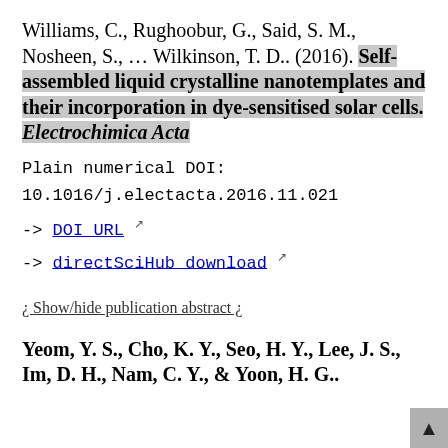Williams, C., Rughoobur, G., Said, S. M., Nosheen, S., … Wilkinson, T. D.. (2016). Self-assembled liquid crystalline nanotemplates and their incorporation in dye-sensitised solar cells. Electrochimica Acta
Plain numerical DOI:
10.1016/j.electacta.2016.11.021
-> DOI URL
-> directSciHub download
¿ Show/hide publication abstract ¿
Yeom, Y. S., Cho, K. Y., Seo, H. Y., Lee, J. S., Im, D. H., Nam, C. Y., & Yoon, H. G..